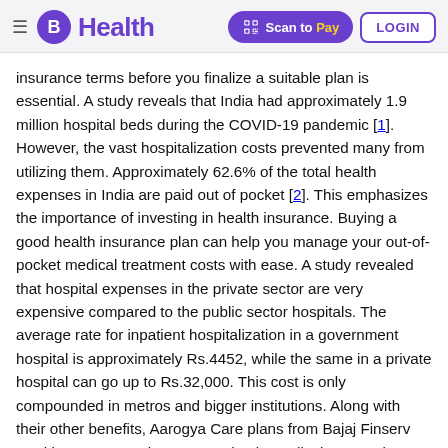B Health | Scan to Pay | LOGIN
insurance terms before you finalize a suitable plan is essential. A study reveals that India had approximately 1.9 million hospital beds during the COVID-19 pandemic [1]. However, the vast hospitalization costs prevented many from utilizing them. Approximately 62.6% of the total health expenses in India are paid out of pocket [2]. This emphasizes the importance of investing in health insurance. Buying a good health insurance plan can help you manage your out-of-pocket medical treatment costs with ease. A study revealed that hospital expenses in the private sector are very expensive compared to the public sector hospitals. The average rate for inpatient hospitalization in a government hospital is approximately Rs.4452, while the same in a private hospital can go up to Rs.32,000. This cost is only compounded in metros and bigger institutions. Along with their other benefits, Aarogya Care plans from Bajaj Finserv Health can ensure that you get timely medical support by covering your inpatient hospitalization costs. Read on to get an in-depth understanding of inpatient hospitalization meaning and how you can avail these benefits with Aarogya Care health insurance